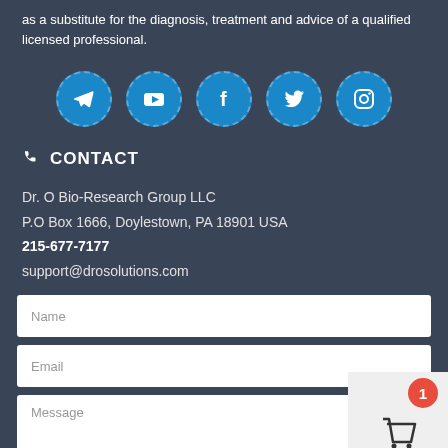as a substitute for the diagnosis, treatment and advice of a qualified licensed professional.
[Figure (illustration): Five social media icon circles (Telegram, YouTube, Facebook, Twitter, Instagram) on dark background, blue circular icons with white symbols]
CONTACT
Dr. O Bio-Research Group LLC
P.O Box 1666, Doylestown, PA 18901 USA
215-677-7177
support@drosolutions.com
[Figure (screenshot): Contact form with Name, Email, and Message input fields on dark background, with a cart icon badge showing number 1 in bottom right corner]